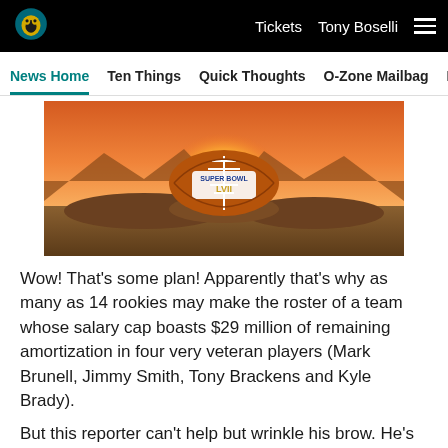Tickets  Tony Boselli  ≡
News Home  Ten Things  Quick Thoughts  O-Zone Mailbag  Ros
[Figure (photo): Super Bowl LVII football on rocky surface at sunset with orange sky background]
Wow! That's some plan! Apparently that's why as many as 14 rookies may make the roster of a team whose salary cap boasts $29 million of remaining amortization in four very veteran players (Mark Brunell, Jimmy Smith, Tony Brackens and Kyle Brady).
But this reporter can't help but wrinkle his brow. He's one of those "build for the future" guys who just doesn't
Facebook  Twitter  Email  Link social sharing icons